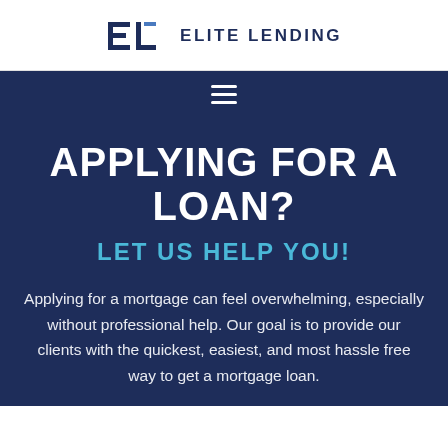[Figure (logo): Elite Lending logo: stylized EL letters in dark navy blue, followed by text 'ELITE LENDING' in bold navy uppercase letters]
[Figure (other): Navigation bar with hamburger menu icon (three horizontal lines) on dark navy background]
APPLYING FOR A LOAN?
LET US HELP YOU!
Applying for a mortgage can feel overwhelming, especially without professional help. Our goal is to provide our clients with the quickest, easiest, and most hassle free way to get a mortgage loan.